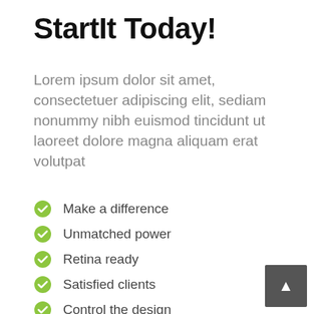StartIt Today!
Lorem ipsum dolor sit amet, consectetuer adipiscing elit, sediam nonummy nibh euismod tincidunt ut laoreet dolore magna aliquam erat volutpat
Make a difference
Unmatched power
Retina ready
Satisfied clients
Control the design
Imagine and create